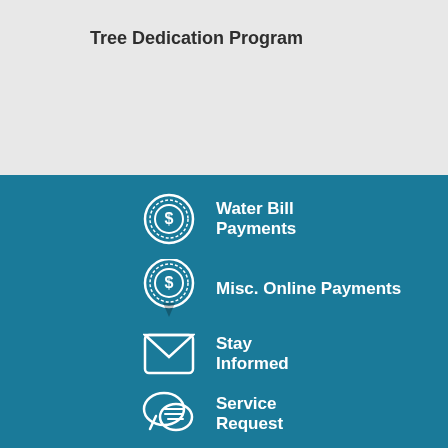Tree Dedication Program
Water Bill Payments
Misc. Online Payments
Stay Informed
Service Request
Agendas & Minutes